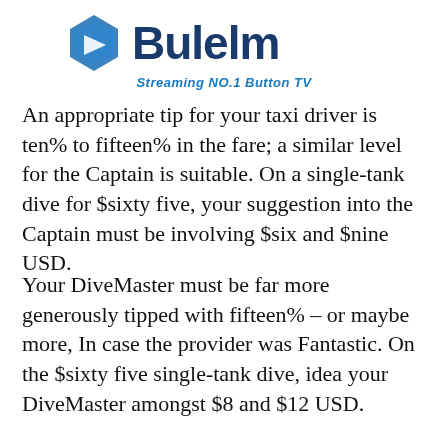[Figure (logo): Bulelm / Streaming NO.1 Button TV logo with blue hexagon icon and stylized text]
An appropriate tip for your taxi driver is ten% to fifteen% in the fare; a similar level for the Captain is suitable. On a single-tank dive for $sixty five, your suggestion into the Captain must be involving $six and $nine USD.
Your DiveMaster must be far more generously tipped with fifteen% – or maybe more, In case the provider was Fantastic. On the $sixty five single-tank dive, idea your DiveMaster amongst $8 and $12 USD.